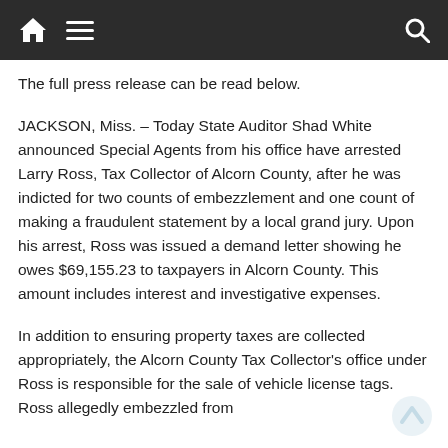Navigation bar with home, menu, and search icons
The full press release can be read below.
JACKSON, Miss. – Today State Auditor Shad White announced Special Agents from his office have arrested Larry Ross, Tax Collector of Alcorn County, after he was indicted for two counts of embezzlement and one count of making a fraudulent statement by a local grand jury. Upon his arrest, Ross was issued a demand letter showing he owes $69,155.23 to taxpayers in Alcorn County. This amount includes interest and investigative expenses.
In addition to ensuring property taxes are collected appropriately, the Alcorn County Tax Collector's office under Ross is responsible for the sale of vehicle license tags. Ross allegedly embezzled from